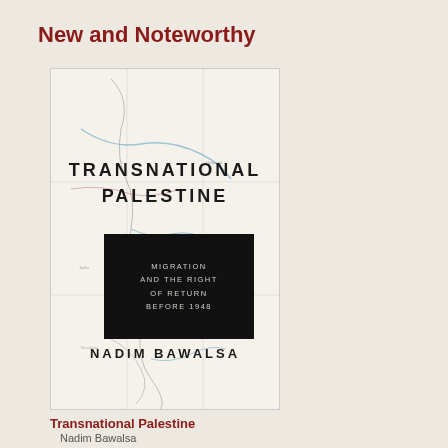New and Noteworthy
[Figure (illustration): Book cover of 'Transnational Palestine: Migration and the Right of Return Before 1948' by Nadim Bawalsa. Cover features a faded map of Palestine as background with a grid overlay, large bold title text 'TRANSNATIONAL PALESTINE' at top center, a black rectangle in the middle containing smaller text 'MIGRATION AND THE RIGHT OF RETURN BEFORE 1948', and author name 'NADIM BAWALSA' at the bottom.]
Transnational Palestine
Nadim Bawalsa